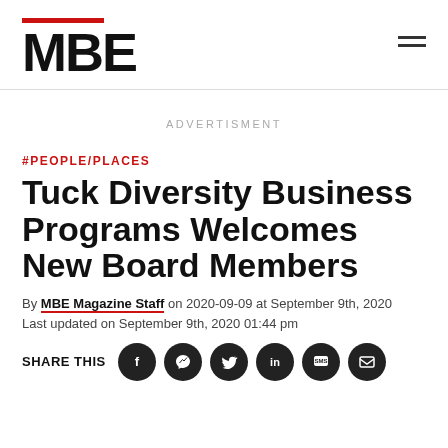MBE
ADVERTISMENT
#PEOPLE/PLACES
Tuck Diversity Business Programs Welcomes New Board Members
By MBE Magazine Staff on 2020-09-09 at September 9th, 2020
Last updated on September 9th, 2020 01:44 pm
SHARE THIS